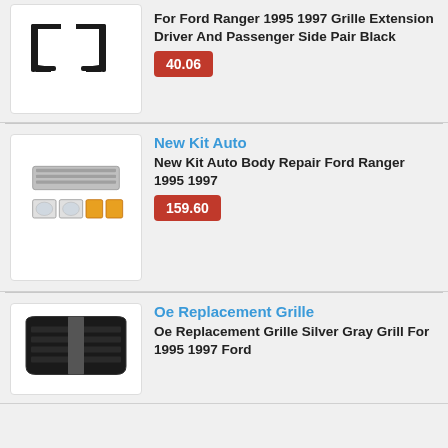[Figure (photo): Two black grille extension bracket parts for Ford Ranger]
For Ford Ranger 1995 1997 Grille Extension Driver And Passenger Side Pair Black
40.06
[Figure (photo): Auto body repair kit for Ford Ranger 1995-1997 including grille, headlights, and corner lights]
New Kit Auto
New Kit Auto Body Repair Ford Ranger 1995 1997
159.60
[Figure (photo): OE Replacement Grille silver gray for 1995-1997 Ford Ranger]
Oe Replacement Grille
Oe Replacement Grille Silver Gray Grill For 1995 1997 Ford